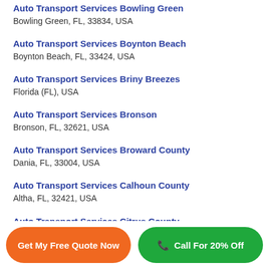Auto Transport Services Bowling Green
Bowling Green, FL, 33834, USA
Auto Transport Services Boynton Beach
Boynton Beach, FL, 33424, USA
Auto Transport Services Briny Breezes
Florida (FL), USA
Auto Transport Services Bronson
Bronson, FL, 32621, USA
Auto Transport Services Broward County
Dania, FL, 33004, USA
Auto Transport Services Calhoun County
Altha, FL, 32421, USA
Auto Transport Services Citrus County
Crystal River, FL, 34423, USA
Get My Free Quote Now | Call For 20% Off